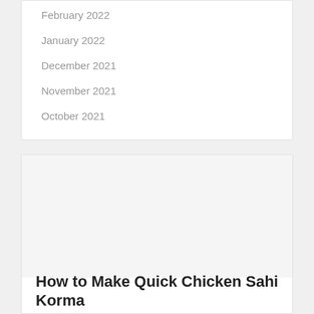February 2022
January 2022
December 2021
November 2021
October 2021
[Figure (photo): Empty white image area for blog post thumbnail]
How to Make Quick Chicken Sahi Korma